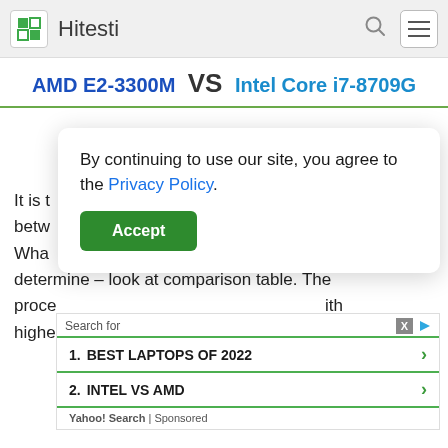Hitesti
AMD E2-3300M VS Intel Core i7-8709G
It is the best place to compare two processors and determine the difference between them. What parameters are most important? You can determine – look at comparison table. The processors are characterized with higher...
By continuing to use our site, you agree to the Privacy Policy.
Accept
Search for
1. BEST LAPTOPS OF 2022
2. INTEL VS AMD
Yahoo! Search | Sponsored